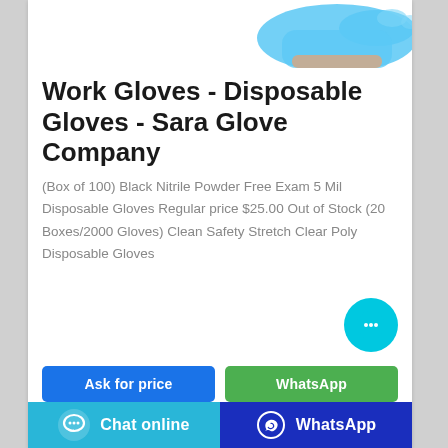[Figure (photo): Partial view of a blue nitrile glove on a hand, cropped at top of page]
Work Gloves - Disposable Gloves - Sara Glove Company
(Box of 100) Black Nitrile Powder Free Exam 5 Mil Disposable Gloves Regular price $25.00 Out of Stock (20 Boxes/2000 Gloves) Clean Safety Stretch Clear Poly Disposable Gloves